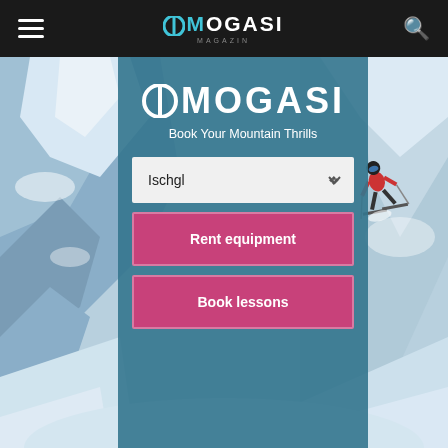MOGASI MAGAZIN
[Figure (screenshot): Screenshot of the Mogasi ski booking website showing a teal center panel with MOGASI logo, tagline 'Book Your Mountain Thrills', a location dropdown set to 'Ischgl', and two pink call-to-action buttons 'Rent equipment' and 'Book lessons'. Background shows a snowy mountain ski scene.]
MOGASI
Book Your Mountain Thrills
Ischgl
Rent equipment
Book lessons